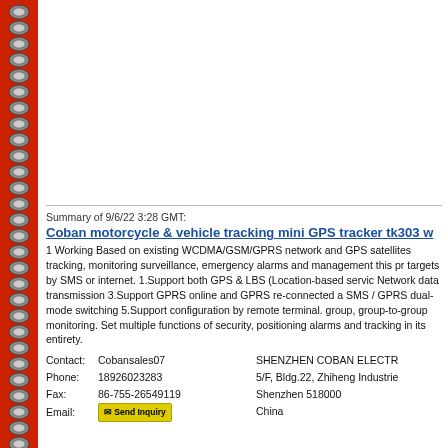[Figure (other): Top portion of page with spiral notebook binding on left side, white content area (image area mostly blank/white)]
Summary of 9/6/22 3:28 GMT:
Coban motorcycle & vehicle tracking mini GPS tracker tk303 w
1 Working Based on existing WCDMA/GSM/GPRS network and GPS satellites tracking, monitoring surveillance, emergency alarms and management this pr targets by SMS or internet. 1.Support both GPS & LBS (Location-based servic Network data transmission 3.Support GPRS online and GPRS re-connected a SMS / GPRS dual-mode switching 5.Support configuration by remote terminal. group, group-to-group monitoring. Set multiple functions of security, positioning alarms and tracking in its entirety.
Contact: Cobansales07
Phone: 18926023283
Fax: 86-755-26549119
Email: [Send Inquiry button]
SHENZHEN COBAN ELECTR
5/F, Bldg.22, Zhiheng Industrie
Shenzhen 518000
China